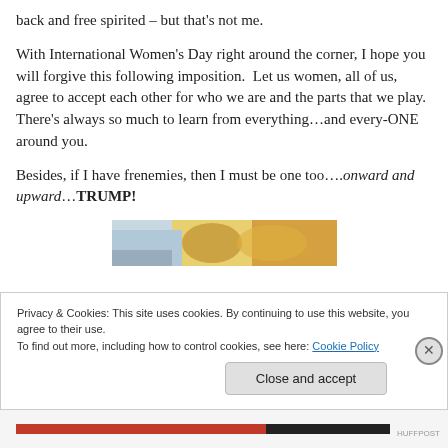back and free spirited – but that's not me.
With International Women's Day right around the corner, I hope you will forgive this following imposition.  Let us women, all of us, agree to accept each other for who we are and the parts that we play.  There's always so much to learn from everything…and every-ONE around you.
Besides, if I have frenemies, then I must be one too….onward and upward…TRUMP!
[Figure (photo): Partial image of flowers or food, cropped at bottom of visible content area]
Privacy & Cookies: This site uses cookies. By continuing to use this website, you agree to their use.
To find out more, including how to control cookies, see here: Cookie Policy
Close and accept